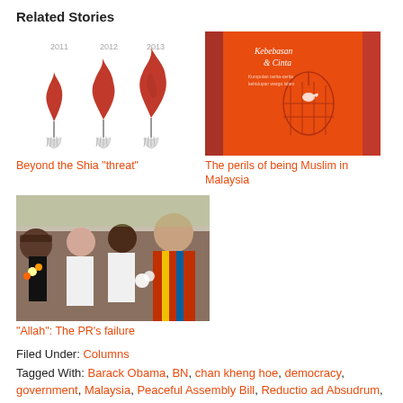Related Stories
[Figure (illustration): Three flame torch illustrations labeled 2011, 2012, 2013 held by hands]
Beyond the Shia “threat”
[Figure (photo): Red book cover with a birdcage illustration, title partially visible: Kebebasan & Cinta]
The perils of being Muslim in Malaysia
[Figure (photo): Group of people including a woman in white and a man in traditional colorful clothing holding white flowers]
“Allah”: The PR’s failure
Filed Under: Columns
Tagged With: Barack Obama, BN, chan kheng hoe, democracy, government, Malaysia, Peaceful Assembly Bill, Reductio ad Absudrum, SEA Games, Umno